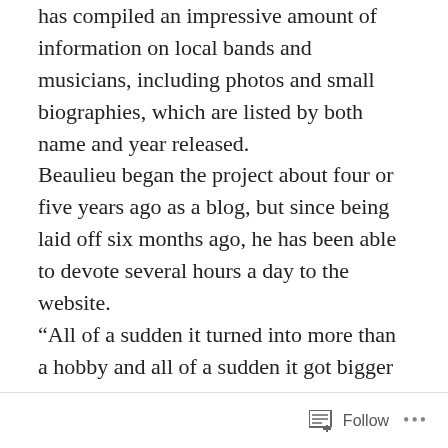has compiled an impressive amount of information on local bands and musicians, including photos and small biographies, which are listed by both name and year released. Beaulieu began the project about four or five years ago as a blog, but since being laid off six months ago, he has been able to devote several hours a day to the website. “All of a sudden it turned into more than a hobby and all of a sudden it got bigger and bigger,” Beaulieu said. He has been a part of the local music scene as a member of the band Foster Child, which became the Janet Theory. Beaulieu credits the help he has received from Jeff Mifflin, who works at Strings N’ Things and is the guitarist with The O’Hara Brothers band. He said Mifflin was able to
Follow